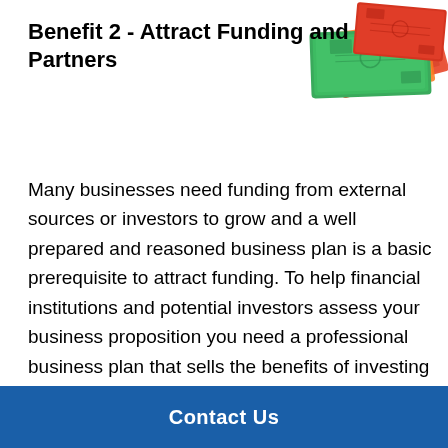Benefit 2 - Attract Funding and Partners
[Figure (photo): A stack of Australian banknotes (green and red/orange currency notes) photographed from above at an angle, in the top-right corner of the page.]
Many businesses need funding from external sources or investors to grow and a well prepared and reasoned business plan is a basic prerequisite to attract funding. To help financial institutions and potential investors assess your business proposition you need a professional business plan that sells the benefits of investing in your business. The document should describe your pathway to success and actually quantify the financial success including projected profits and growth in the value of the business.
It shows tha[t... obscured by overlay ...] plan and outlines ho[w... obscured by overlay ...]
Contact Us